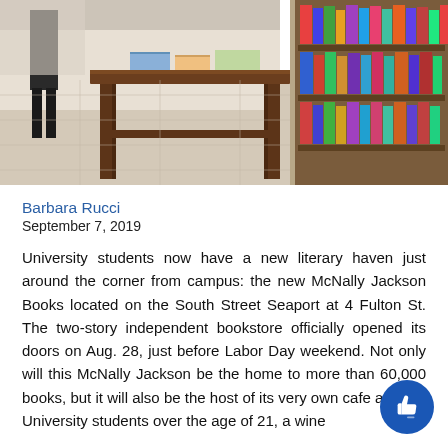[Figure (photo): Interior of McNally Jackson Books bookstore showing a wooden display table in the center and bookshelves filled with colorful books on the right side, with a tiled floor and a person partially visible in the background.]
Barbara Rucci
September 7, 2019
University students now have a new literary haven just around the corner from campus: the new McNally Jackson Books located on the South Street Seaport at 4 Fulton St. The two-story independent bookstore officially opened its doors on Aug. 28, just before Labor Day weekend. Not only will this McNally Jackson be the home to more than 60,000 books, but it will also be the host of its very own cafe and, for University students over the age of 21, a wine